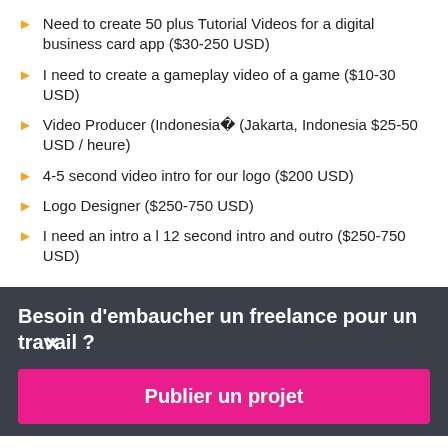Need to create 50 plus Tutorial Videos for a digital business card app ($30-250 USD)
I need to create a gameplay video of a game ($10-30 USD)
Video Producer (Indonesia� (Jakarta, Indonesia $25-50 USD / heure)
4-5 second video intro for our logo ($200 USD)
Logo Designer ($250-750 USD)
I need an intro a l 12 second intro and outro ($250-750 USD)
Besoin d'embaucher un freelance pour un travail ?
Publier un projet